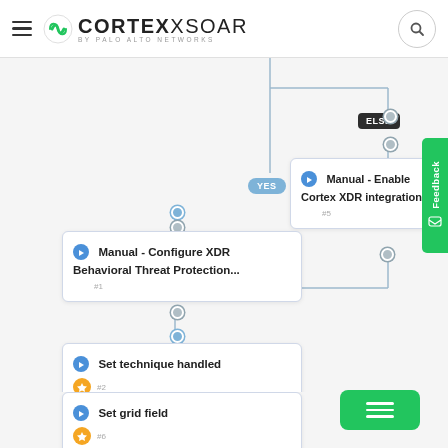[Figure (screenshot): Cortex XSOAR application header with hamburger menu, Cortex XSOAR logo by Palo Alto Networks, and search button]
[Figure (flowchart): SOAR automation workflow flowchart showing: ELSE branch leading to 'Manual - Enable Cortex XDR integration' node (#5), YES branch leading to 'Manual - Configure XDR Behavioral Threat Protection...' node (#1), then 'Set technique handled' node (#2) with lightning bolt icon, then 'Set grid field' node (#6) with lightning bolt icon, then partial bottom node. Feedback tab on right side. Green menu button at bottom right.]